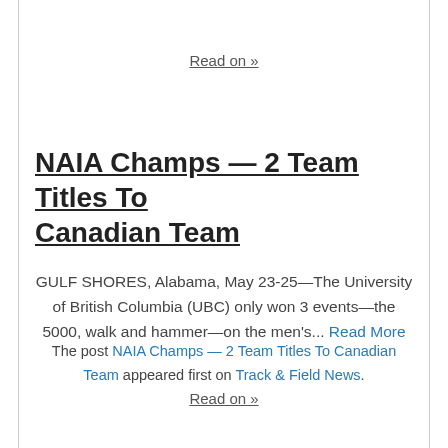Read on »
NAIA Champs — 2 Team Titles To Canadian Team
GULF SHORES, Alabama, May 23-25—The University of British Columbia (UBC) only won 3 events—the 5000, walk and hammer—on the men's... Read More
The post NAIA Champs — 2 Team Titles To Canadian Team appeared first on Track & Field News.
Read on »